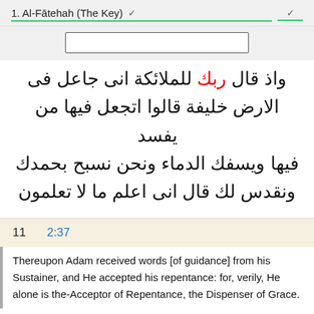1. Al-Fātehah (The Key)
واذ قال ربك للملائكة انى جاعل فى الارض خليفة قالوا اتجعل فيها من يفسد فيها ويسفك الدماء ونحن نسبح بحمدك ونقدس لك قال انى اعلم ما لا تعلمون
11   2:37
Thereupon Adam received words [of guidance] from his Sustainer, and He accepted his repentance: for, verily, He alone is the-Acceptor of Repentance, the Dispenser of Grace.
ftlqva aadm mn rbh klmat ftab Alyh anh bw altwah alrHym